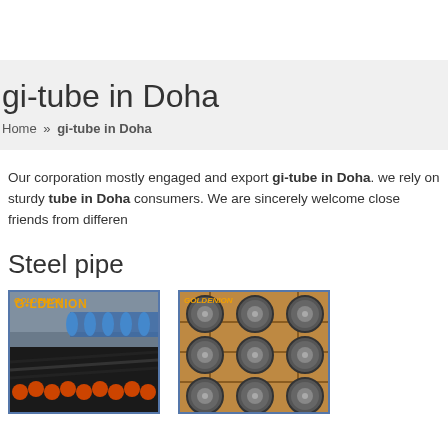gi-tube in Doha
Home » gi-tube in Doha
Our corporation mostly engaged and export gi-tube in Doha. we rely on sturdy tube in Doha consumers. We are sincerely welcome close friends from differen
Steel pipe
[Figure (photo): Stack of steel/black pipes with orange ends in a warehouse, Goldenion logo top-left]
[Figure (photo): Large diameter steel pipes bundled in wooden crate viewed from end, Goldenion logo top-left]